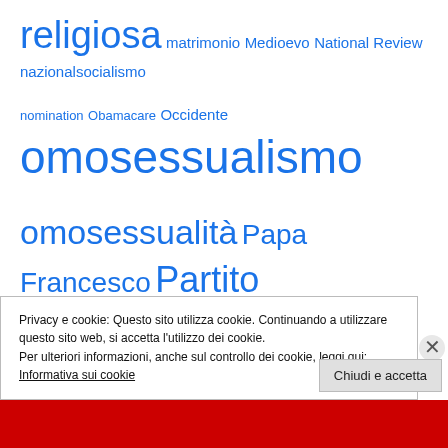[Figure (infographic): Tag cloud with Italian political/social terms in varying font sizes, all in blue. Terms include: religiosa, matrimonio, Medioevo, National Review, nazionalsocialismo, nomination, Obamacare, Occidente, omosessualismo, omosessualità, Papa Francesco, Partito Democratico, Partito Repubblicano, persecuzione religiosa, primarie, principi non negoziabili, pro-life, razzismo, Ronald Reagan, Russia, Segretario di Stato, Sinistra, socialcomunismo, socialismo, statalismo, Stati Uniti, Stati Uniti d'America]
Privacy e cookie: Questo sito utilizza cookie. Continuando a utilizzare questo sito web, si accetta l'utilizzo dei cookie. Per ulteriori informazioni, anche sul controllo dei cookie, leggi qui: Informativa sui cookie
Chiudi e accetta